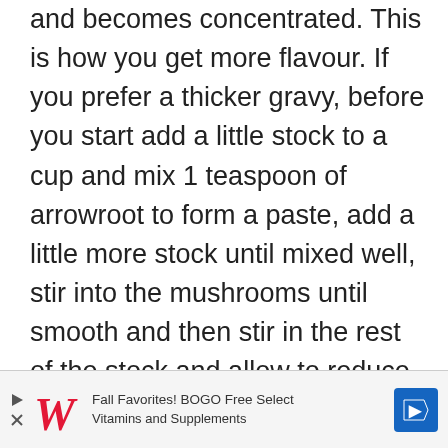and becomes concentrated. This is how you get more flavour. If you prefer a thicker gravy, before you start add a little stock to a cup and mix 1 teaspoon of arrowroot to form a paste, add a little more stock until mixed well, stir into the mushrooms until smooth and then stir in the rest of the stock and allow to reduce as indicated above.
[Figure (other): Walgreens advertisement banner: Fall Favorites! BOGO Free Select Vitamins and Supplements, with Walgreens logo and blue directional sign icon]